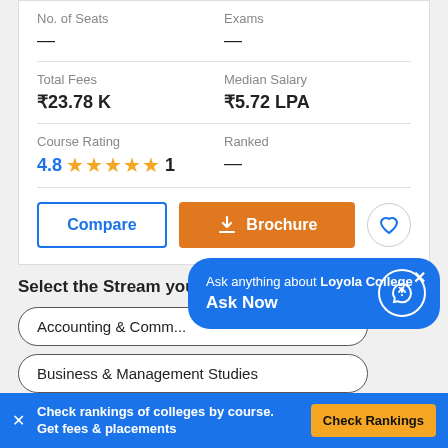| No. of Seats | Exams |
| --- | --- |
| — | — |
| Total Fees | Median Salary |
| --- | --- |
| ₹23.78 K | ₹5.72 LPA |
| Course Rating | Ranked |
| --- | --- |
| 4.8 ★★★★★ 1 | — |
Compare | Brochure
Select the Stream you
Accounting & Comm...
Business & Management Studies
Ask anything about Loyola College
Ask Now
Check rankings of colleges by course. Get fees & placements
Check Rankings